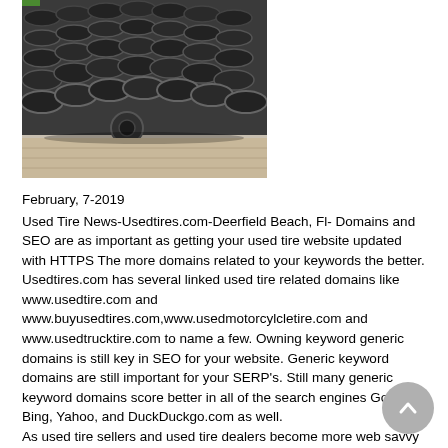[Figure (photo): A pile of stacked used tires viewed from above and side, in black and grey tones, on a wooden floor surface.]
February, 7-2019
Used Tire News-Usedtires.com-Deerfield Beach, Fl- Domains and SEO are as important as getting your used tire website updated with HTTPS The more domains related to your keywords the better. Usedtires.com has several linked used tire related domains like www.usedtire.com and www.buyusedtires.com,www.usedmotorcylcletire.com and www.usedtrucktire.com to name a few. Owning keyword generic domains is still key in SEO for your website. Generic keyword domains are still important for your SERP's. Still many generic keyword domains score better in all of the search engines Google, Bing, Yahoo, and DuckDuckgo.com as well.
As used tire sellers and used tire dealers become more web savvy and drive more sales to the brick and mortar used stores